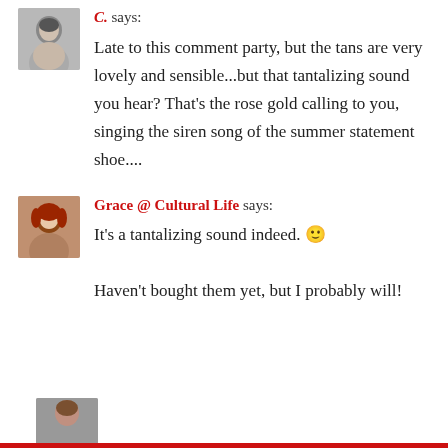C. says: Late to this comment party, but the tans are very lovely and sensible...but that tantalizing sound you hear? That’s the rose gold calling to you, singing the siren song of the summer statement shoe....
Grace @ Cultural Life says: It’s a tantalizing sound indeed. 🙂 Haven’t bought them yet, but I probably will!